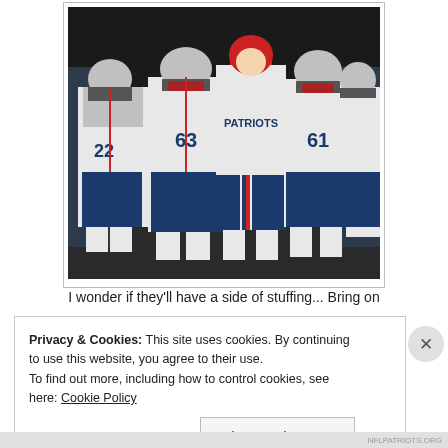[Figure (photo): New England Patriots football players in white uniforms with numbers 22, 63, 61 visible, standing in a tunnel or indoor area, wearing helmets and game gear. One player in the center is wearing a beanie hat.]
I wonder if they'll have a side of stuffing... Bring on
Privacy & Cookies: This site uses cookies. By continuing to use this website, you agree to their use.
To find out more, including how to control cookies, see here: Cookie Policy
Close and accept